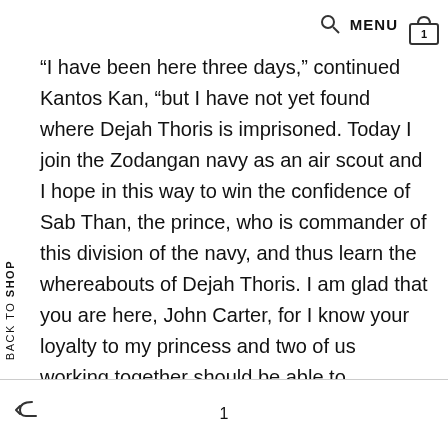MENU 1
“I have been here three days,” continued Kantos Kan, “but I have not yet found where Dejah Thoris is imprisoned. Today I join the Zodangan navy as an air scout and I hope in this way to win the confidence of Sab Than, the prince, who is commander of this division of the navy, and thus learn the whereabouts of Dejah Thoris. I am glad that you are here, John Carter, for I know your loyalty to my princess and two of us working together should be able to accomplish much.”
1